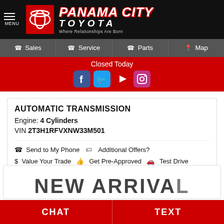[Figure (logo): Panama City Toyota dealership website header with menu icon, Toyota logo, and brand name with tagline 'Where Relationships Are Born']
Sales | Service | Parts | Map
Closed Today
AUTOMATIC TRANSMISSION
Engine: 4 Cylinders
VIN 2T3H1RFVXNW33M501
Send to My Phone  Additional Offers?  Value Your Trade  Get Pre-Approved  Test Drive
NEW ARRIVAL
CHAT  TEXT